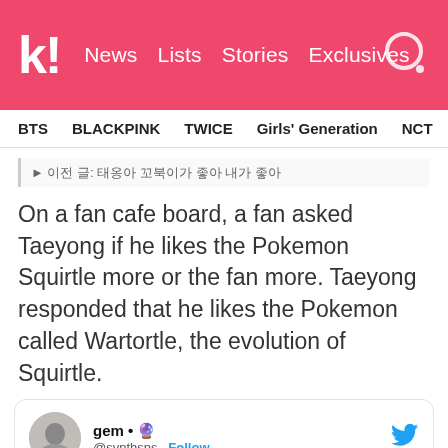k! News Lists Stories Exclusives
BTS BLACKPINK TWICE Girls' Generation NCT aespa
▸ 이전 글: 태옹아 꼬북이가 좋아 내가 좋아
On a fan cafe board, a fan asked Taeyong if he likes the Pokemon Squirtle more or the fan more. Taeyong responded that he likes the Pokemon called Wartortle, the evolution of Squirtle.
gem • 🔮 @svnthsns · Follow
160722 yeouido fansign
asked taeyong to draw a wartortle
"I like wartotle~" then he paused "it's